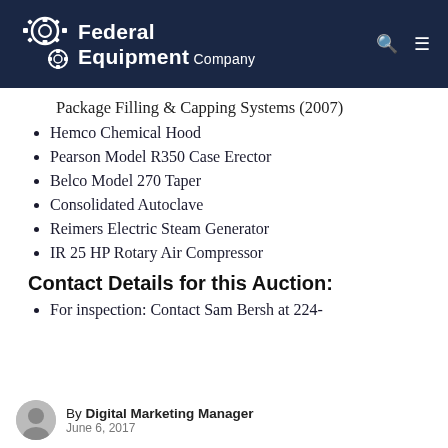Federal Equipment Company
Package Filling & Capping Systems (2007)
Hemco Chemical Hood
Pearson Model R350 Case Erector
Belco Model 270 Taper
Consolidated Autoclave
Reimers Electric Steam Generator
IR 25 HP Rotary Air Compressor
Contact Details for this Auction:
For inspection: Contact Sam Bersh at 224-
By Digital Marketing Manager
June 6, 2017